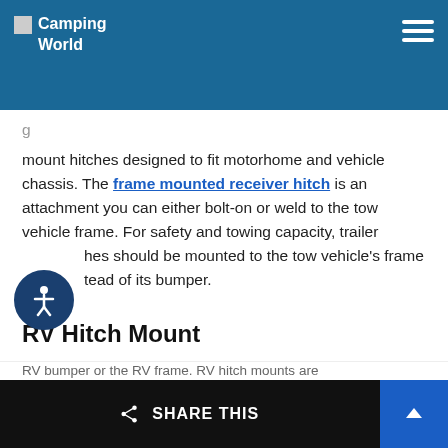Camping World
mount hitches designed to fit motorhome and vehicle chassis. The frame mounted receiver hitch is an attachment you can either bolt-on or weld to the tow vehicle frame. For safety and towing capacity, trailer hitches should be mounted to the tow vehicle's frame instead of its bumper.
RV Hitch Mount
RV hitch mounts, also referred to as accessory adapters, are aftermarket components attached to the RV bumper or the RV frame. RV hitch mounts are
SHARE THIS